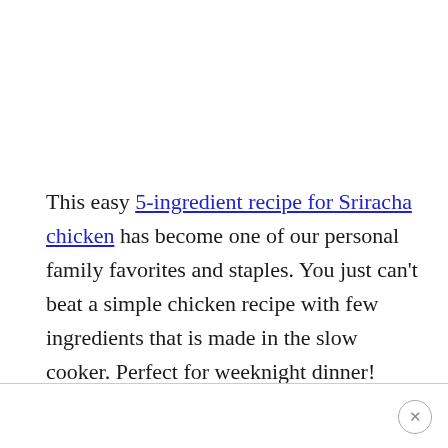This easy 5-ingredient recipe for Sriracha chicken has become one of our personal family favorites and staples. You just can't beat a simple chicken recipe with few ingredients that is made in the slow cooker. Perfect for weeknight dinner!